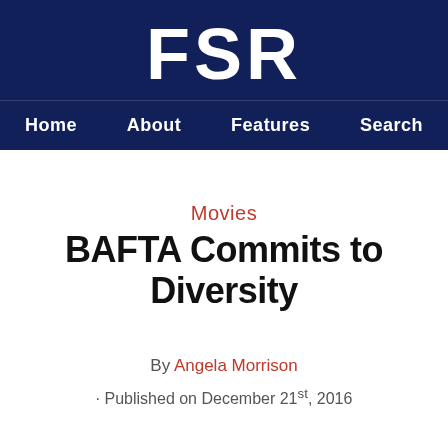FSR
Home  About  Features  Search
Movies
BAFTA Commits to Diversity
By Angela Morrison
· Published on December 21st, 2016
The British Academy announces new initiative to prioritize diversity at their annual awards